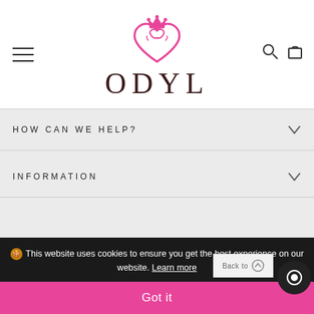[Figure (logo): ODYL brand logo with pink heart and crown above text 'ODYL' in dark brown serif letters]
HOW CAN WE HELP?
INFORMATION
This website uses cookies to ensure you get the best experience on our website. Learn more
Got it